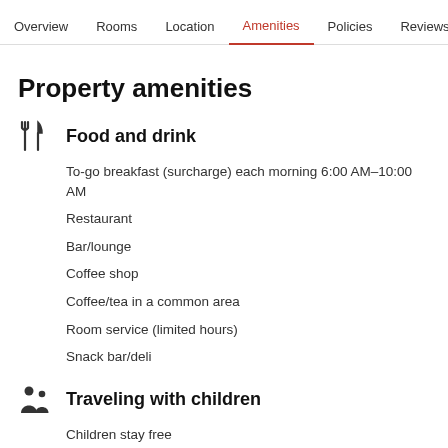Overview  Rooms  Location  Amenities  Policies  Reviews
Property amenities
Food and drink
To-go breakfast (surcharge) each morning 6:00 AM–10:00 AM
Restaurant
Bar/lounge
Coffee shop
Coffee/tea in a common area
Room service (limited hours)
Snack bar/deli
Traveling with children
Children stay free
Children's menu
Pool toys